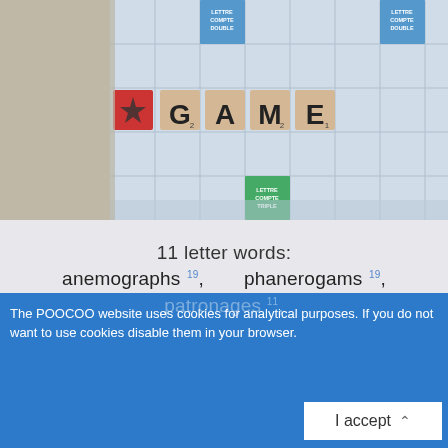[Figure (photo): Scrabble board with letter tiles spelling GAME on a Scrabble board. A red tile with a star is visible on the left.]
11 letter words:
anemographs 19,    phanerogams 19,
10 letter words:
anemograph 18,    nephograms 18,
phanerogam ,    orphanages ,
patronages ,
The POOCOO website uses cookies for analytical purposes. If you do not want to use cookies disable them in your browser.